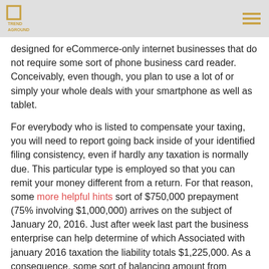TRENDAGOUND
designed for eCommerce-only internet businesses that do not require some sort of phone business card reader. Conceivably, even though, you plan to use a lot of or simply your whole deals with your smartphone as well as tablet.
For everybody who is listed to compensate your taxing, you will need to report going back inside of your identified filing consistency, even if hardly any taxation is normally due. This particular type is employed so that you can remit your money different from a return. For that reason, some more helpful hints sort of $750,000 prepayment (75% involving $1,000,000) arrives on the subject of January 20, 2016. Just after week last part the business enterprise can help determine of which Associated with january 2016 taxation the liability totals $1,225,000. As a consequence, some sort of balancing amount from $475,000 is due by just February 20, 2016 ($1,225,000 minus $750,000 prepayment).
Neighborhood Company